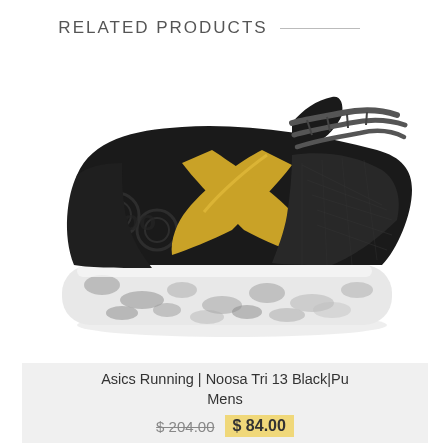RELATED PRODUCTS
[Figure (photo): Asics Noosa Tri 13 running shoe in black with gold logo and white/black patterned sole, shown from the side]
Asics Running | Noosa Tri 13 Black|Pu Mens
$ 204.00  $ 84.00